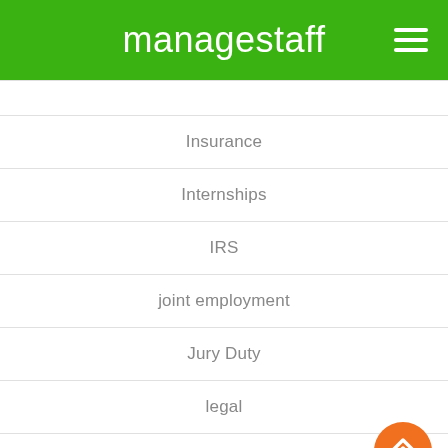managestaff
Insurance
Internships
IRS
joint employment
Jury Duty
legal
Mileage
Minimum Wage